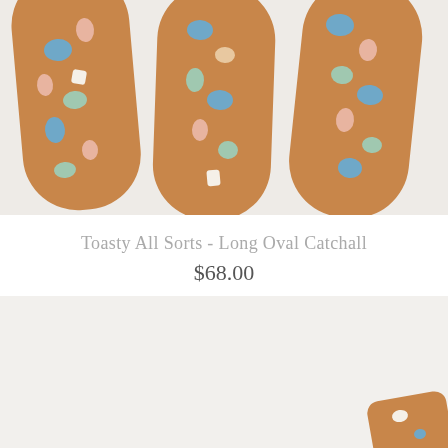[Figure (photo): Three long oval cork catchall trays with colorful painted spots and shapes (blue circles, pink ovals, teal ovals, white shapes) arranged side by side on a light gray background, photographed from above.]
Toasty All Sorts - Long Oval Catchall
$68.00
[Figure (photo): Partial view of another product on a light gray/white background, showing the bottom corner of a ceramic or cork item.]